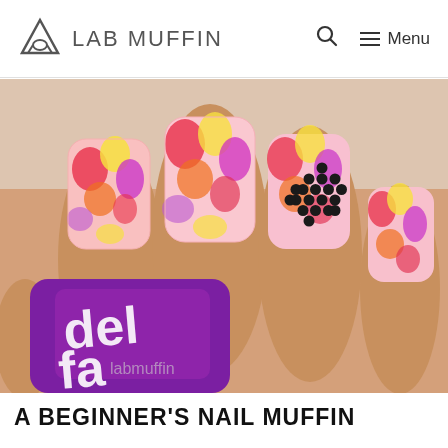LAB MUFFIN
[Figure (photo): Close-up photo of a hand holding a purple nail polish bottle. The nails are painted with a vibrant multicolored tie-dye pattern in pink, red, yellow, and purple. One nail features a black star shape made from small black beads. A watermark reading 'labmuffin' is visible at the bottom of the photo.]
A BEGINNER'S NAIL MUFFIN